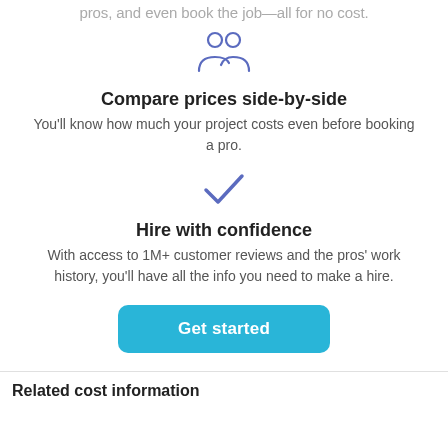pros, and even book the job—all for no cost.
[Figure (illustration): Blue icon of two people (group/users icon)]
Compare prices side-by-side
You'll know how much your project costs even before booking a pro.
[Figure (illustration): Blue checkmark icon]
Hire with confidence
With access to 1M+ customer reviews and the pros' work history, you'll have all the info you need to make a hire.
Get started
Related cost information